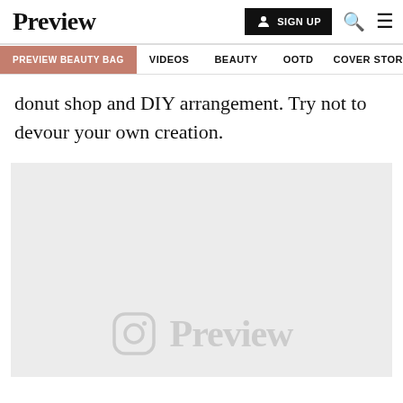Preview | SIGN UP
PREVIEW BEAUTY BAG | VIDEOS | BEAUTY | OOTD | COVER STORIES
donut shop and DIY arrangement. Try not to devour your own creation.
[Figure (photo): Instagram embedded post placeholder showing Preview logo watermark on light grey background]